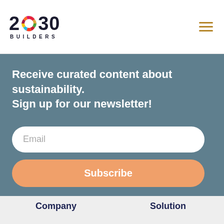[Figure (logo): 2030 Builders logo with colorful SDG wheel replacing the zero in 2030, with BUILDERS text below]
Receive curated content about sustainability.
Sign up for our newsletter!
Email
Subscribe
Company
Solution